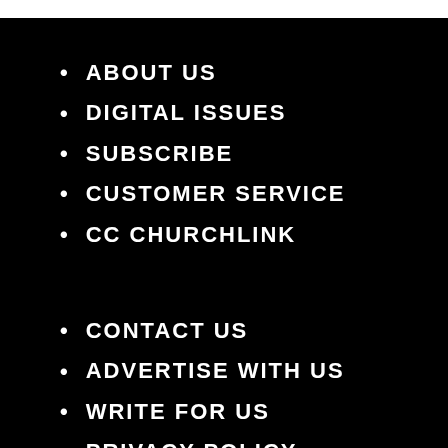ABOUT US
DIGITAL ISSUES
SUBSCRIBE
CUSTOMER SERVICE
CC CHURCHLINK
CONTACT US
ADVERTISE WITH US
WRITE FOR US
PRIVACY POLICY
TERMS OF USE